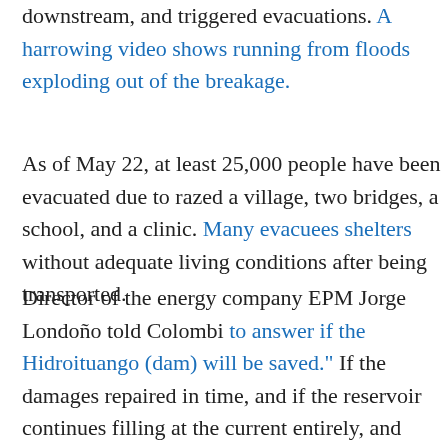downstream, and triggered evacuations. A harrowing video shows running from floods exploding out of the breakage.
As of May 22, at least 25,000 people have been evacuated due to razed a village, two bridges, a school, and a clinic. Many evacuees shelters without adequate living conditions after being transported.
Director of the energy company EPM Jorge Londoño told Colombi to answer if the Hidroituango (dam) will be saved." If the damages repaired in time, and if the reservoir continues filling at the current entirely, and ensuing flooding would cause an unprecedented amo municipalities and 100,000 people downstream would be affected.
While EPM has blamed "unpredictable geological conditions" for th who have been monitoring the site say that the company had left e material uncollected, triggering the landslides. The company had b surrounding rainforest to clear the site of the future reservoir.
The project has received funding from IDB Invest, the private-sect American Development Bank. Rating company Fitch alerted inves